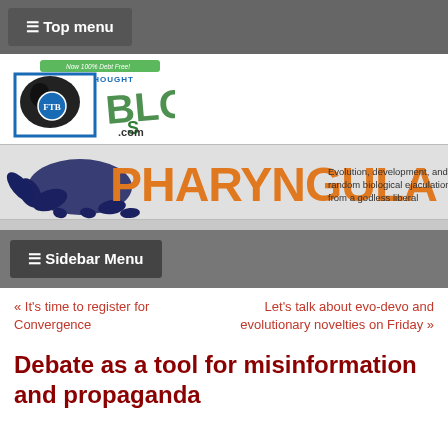≡ Top menu
[Figure (logo): FreeThought Blogs logo with circular emblem and FTB letters, now 100% Debt Free banner]
[Figure (logo): Pharyngula blog banner with orange text, octopus illustration, and subtitle: Evolution, development, and random biological ejaculations from a godless liberal]
≡ Sidebar Menu
« It's time to register for Convergence
Let's talk about evo-devo and evolutionary novelties on Friday »
Debate as a tool for misinformation and propaganda